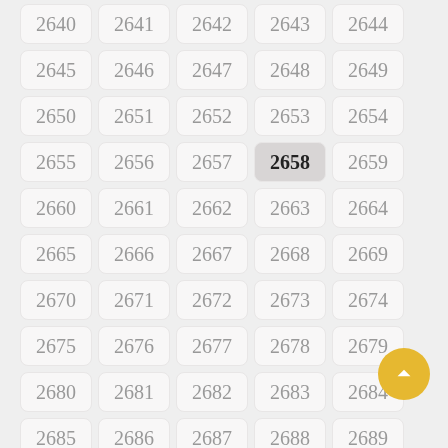[Figure (other): A grid of numbered cells from 2640 to 2694, arranged in 5 columns. Cell 2658 is highlighted with a darker background and bold text. A golden circular button with an upward chevron arrow is shown in the bottom-right corner.]